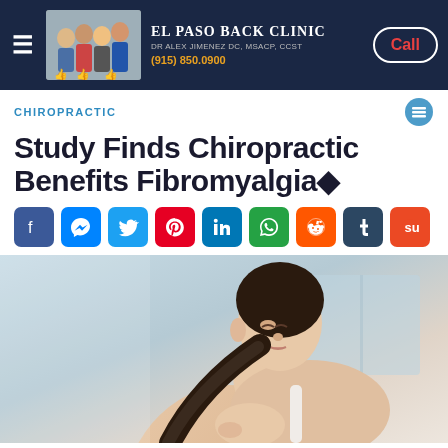El Paso Back Clinic — Dr Alex Jimenez DC, MSACP, CCST — (915) 850.0900 — Call
CHIROPRACTIC
Study Finds Chiropractic Benefits Fibromyalgia◆
[Figure (infographic): Social media share buttons row: Facebook, Messenger, Twitter, Pinterest, LinkedIn, WhatsApp, Reddit, Tumblr, StumbleUpon]
[Figure (photo): Woman with dark ponytail reaching back to touch her shoulder/neck area, appearing to be in pain, wearing a light-colored top, soft blue-grey background]